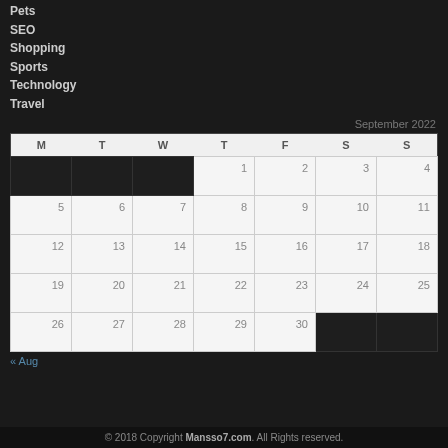Pets
SEO
Shopping
Sports
Technology
Travel
September 2022
| M | T | W | T | F | S | S |
| --- | --- | --- | --- | --- | --- | --- |
|  |  |  | 1 | 2 | 3 | 4 |
| 5 | 6 | 7 | 8 | 9 | 10 | 11 |
| 12 | 13 | 14 | 15 | 16 | 17 | 18 |
| 19 | 20 | 21 | 22 | 23 | 24 | 25 |
| 26 | 27 | 28 | 29 | 30 |  |  |
« Aug
© 2018 Copyright Mansso7.com. All Rights reserved.